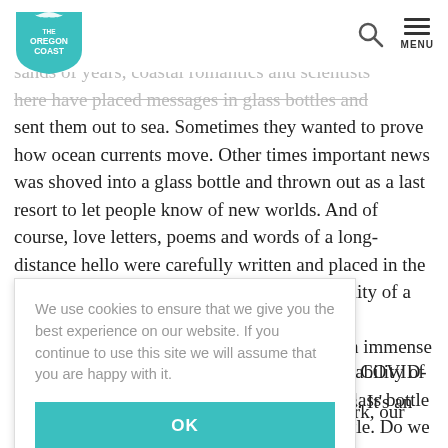The Oregon Coast — navigation header with logo, search icon, and menu
...sands of years, coastal romantics and scientists here have placed messages in glass bottles and sent them out to sea. Sometimes they wanted to prove how ocean currents move. Other times important news was shoved into a glass bottle and thrown out as a last resort to let people know of new worlds. And of course, love letters, poems and words of a long-distance hello were carefully written and placed in the ocean with a wish. ...durability of a glass bottle — ...rough immense oceans and ...k ships. It's an unimaginable ...me kind of communication ...ing on the shore. ...ng COVID-19 feels a bit like ...bottle. Do we write about our ...nwavering confidence in ...e describe what we are ...recedented time in history? Or do we observantly explain how all of our work, our lives
We use cookies to ensure that we give you the best experience on our website. If you continue to use this site we will assume that you are happy with it.